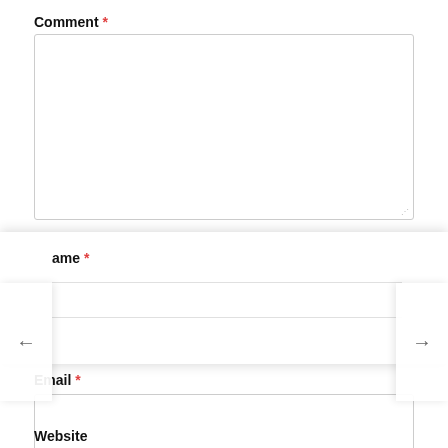Comment *
[Figure (screenshot): Empty textarea input box for comment]
ame *
[Figure (screenshot): Text input field for Name, partially visible with navigation arrows]
Email *
[Figure (screenshot): Empty input box for email]
Website